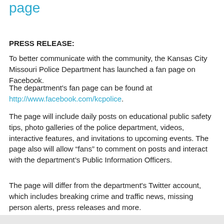page
PRESS RELEASE:
To better communicate with the community, the Kansas City Missouri Police Department has launched a fan page on Facebook.
The department's fan page can be found at http://www.facebook.com/kcpolice.
The page will include daily posts on educational public safety tips, photo galleries of the police department, videos, interactive features, and invitations to upcoming events. The page also will allow “fans” to comment on posts and interact with the department’s Public Information Officers.
The page will differ from the department's Twitter account, which includes breaking crime and traffic news, missing person alerts, press releases and more.